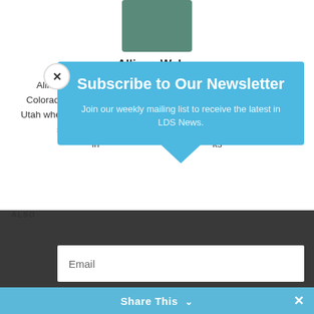[Figure (photo): Author photo of Allison Weber, cropped portrait]
Allison Weber
Allison Weber grew up in the Great Plains of northeastern Colorado, decided to see some mountains, and went to Provo, Utah where she got her BA in English at BYU. Afterwards she did some writing and ...rs in... ...ks
ALSO
Subscribe to Our Newsletter
Join our weekly mailing list to receive the latest in LDS News.
Email
SUBSCRIBE!
Share This